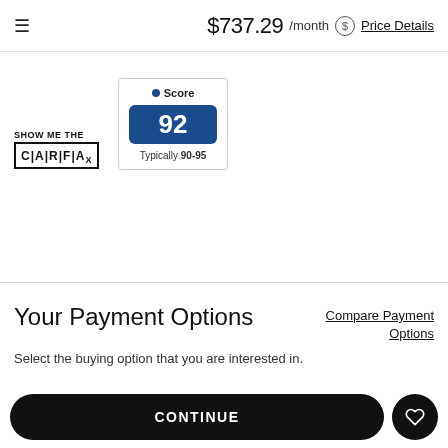$737.29 /month  Price Details
[Figure (infographic): SHOW ME THE CARFAX logo with score widget showing score 92, typically 90-95]
Your Payment Options
Compare Payment Options
Select the buying option that you are interested in.
CONTINUE